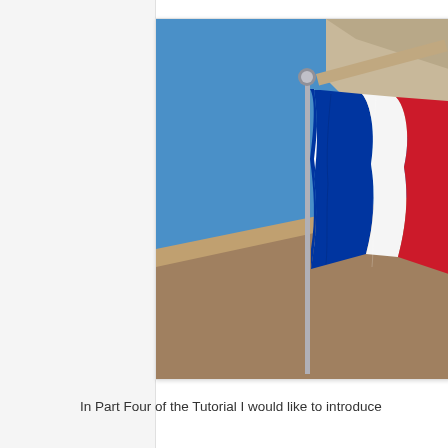[Figure (photo): A French tricolor flag (blue, white, red) waving on a flagpole in front of a classical stone building, photographed from below against a clear blue sky.]
In Part Four of the Tutorial I would like to introduce